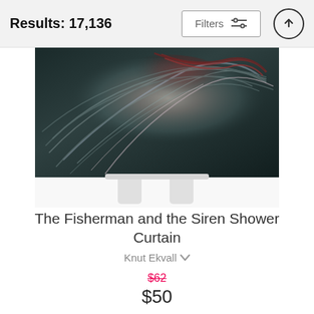Results: 17,136
[Figure (photo): Product photo of a shower curtain displayed on a white stand, showing a painted artwork of swirling hair in dark teal, gray and red tones — The Fisherman and the Siren.]
The Fisherman and the Siren Shower Curtain
Knut Ekvall
$62 (strikethrough) $50